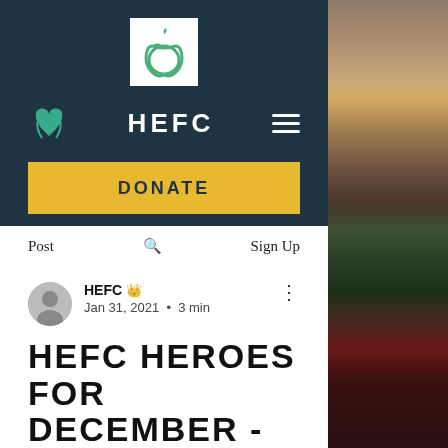[Figure (logo): HEFC logo: white box with a green apple icon inside]
HEFC
DONATE
Post · Search · Sign Up
[Figure (photo): Right-side photo strip showing bread, vegetables, and produce in a basket]
HEFC 👑
Jan 31, 2021 · 3 min
HEFC HEROES FOR DECEMBER - FRANCINE BRISEBOIS